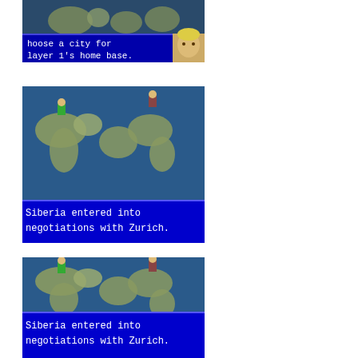[Figure (screenshot): Video game screenshot showing a world map selection screen with text 'hoose a city for layer 1's home base.' and a character portrait on the right side.]
[Figure (screenshot): Video game screenshot showing a world map with two character sprites and a dialog box at the bottom reading 'Siberia entered into negotiations with Zurich.']
[Figure (screenshot): Video game screenshot showing the same world map with character sprites and dialog box reading 'Siberia entered into negotiations with Zurich.' (duplicate/similar to previous).]
[Figure (screenshot): Video game screenshot showing a game interface with a world map, airline company panel labeled 'ndoAir', a 'City' selector, bar charts showing resource or popularity levels, and numbers '226' and '4.78' and '1.30' visible.]